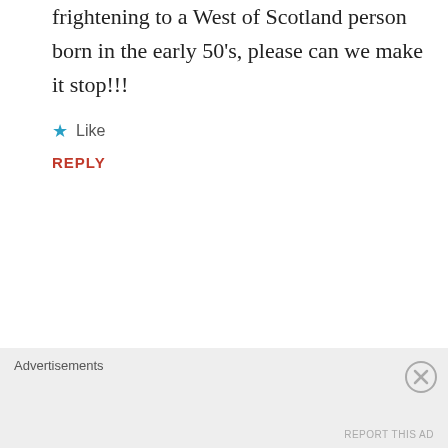frightening to a West of Scotland person born in the early 50's, please can we make it stop!!!
Like
REPLY
Doug Rumbles
FEBRUARY 16, 2019 - SATURDAY AT 11:57
Aye.
Like
Advertisements
REPORT THIS AD